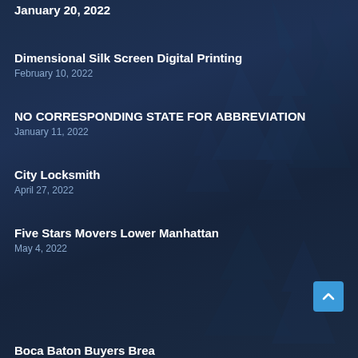January 20, 2022
Dimensional Silk Screen Digital Printing
February 10, 2022
NO CORRESPONDING STATE FOR ABBREVIATION
January 11, 2022
City Locksmith
April 27, 2022
Five Stars Movers Lower Manhattan
May 4, 2022
Boca Baton Buyers Brea